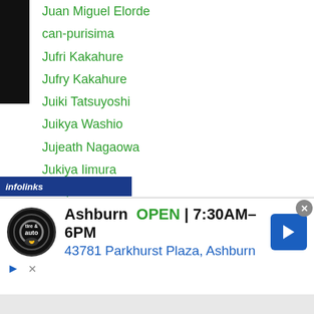Juan Miguel Elorde
can-purisima
Jufri Kakahure
Jufry Kakahure
Juiki Tatsuyoshi
Juikya Washio
Jujeath Nagaowa
Jukiya Iimura
Jukiya Washio
Jumbo Oda Nobunaga Shoten Petagine
Jun Blazo
Jun-doliguez
Jung-hoon-yang
Jung Koo Chang
Jung Kyoung Lee
Min Ho
[Figure (screenshot): Infolinks advertisement banner for Tire Auto shop in Ashburn, showing OPEN hours 7:30AM-6PM and address 43781 Parkhurst Plaza, Ashburn]